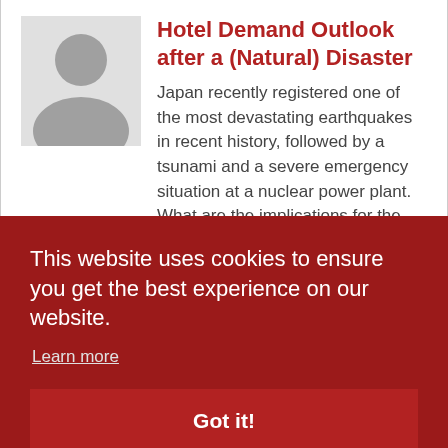[Figure (illustration): Gray silhouette avatar icon of a person, used as a placeholder profile image]
Hotel Demand Outlook after a (Natural) Disaster
Japan recently registered one of the most devastating earthquakes in recent history, followed by a tsunami and a severe emergency situation at a nuclear power plant. What are the implications for the Japanese Hotel and Tourism Industry?
This website uses cookies to ensure you get the best experience on our website.
Learn more
Got it!